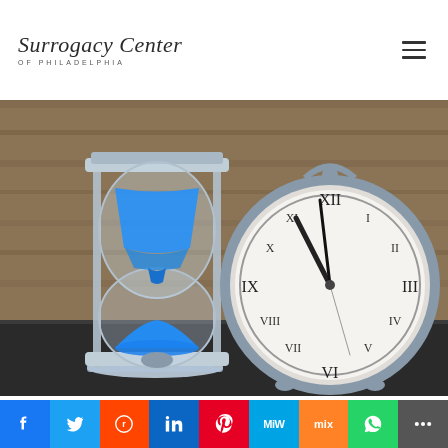Surrogacy Center OF PHILADELPHIA
[Figure (photo): An hourglass with blue sand next to a silver alarm clock on a dark wooden surface, with a blurred wood background.]
The first known, recorded case of surrogacy took
Facebook Twitter Reddit LinkedIn Pinterest MiW Mix WhatsApp More